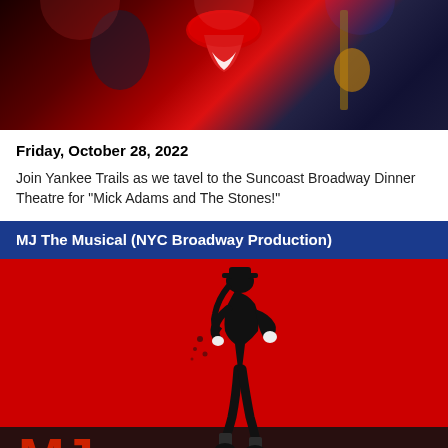[Figure (photo): Concert promotional image with Rolling Stones tongue logo and performers against red and dark background]
Friday, October 28, 2022
Join Yankee Trails as we tavel to the Suncoast Broadway Dinner Theatre for "Mick Adams and The Stones!"
MJ The Musical (NYC Broadway Production)
[Figure (photo): MJ The Musical promotional poster showing a Michael Jackson silhouette dancer in black against a red background with 'MJ THE MUSICAL' text logo at the bottom]